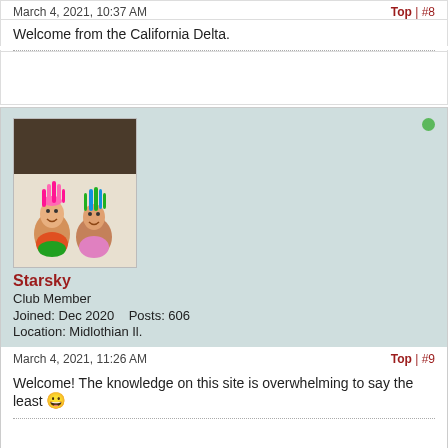March 4, 2021, 10:37 AM
Top | #8
Welcome from the California Delta.
[Figure (photo): Avatar photo showing two troll dolls with colorful hair on a white background]
Starsky
Club Member
Joined: Dec 2020    Posts: 606
Location: Midlothian Il.
March 4, 2021, 11:26 AM
Top | #9
Welcome! The knowledge on this site is overwhelming to say the least 😀